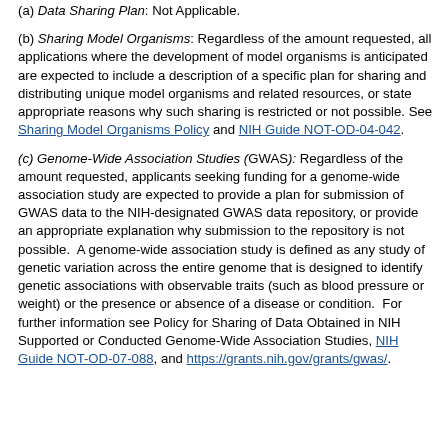(a) Data Sharing Plan: Not Applicable.
(b) Sharing Model Organisms: Regardless of the amount requested, all applications where the development of model organisms is anticipated are expected to include a description of a specific plan for sharing and distributing unique model organisms and related resources, or state appropriate reasons why such sharing is restricted or not possible. See Sharing Model Organisms Policy and NIH Guide NOT-OD-04-042.
(c) Genome-Wide Association Studies (GWAS): Regardless of the amount requested, applicants seeking funding for a genome-wide association study are expected to provide a plan for submission of GWAS data to the NIH-designated GWAS data repository, or provide an appropriate explanation why submission to the repository is not possible. A genome-wide association study is defined as any study of genetic variation across the entire genome that is designed to identify genetic associations with observable traits (such as blood pressure or weight) or the presence or absence of a disease or condition. For further information see Policy for Sharing of Data Obtained in NIH Supported or Conducted Genome-Wide Association Studies, NIH Guide NOT-OD-07-088, and https://grants.nih.gov/grants/gwas/.